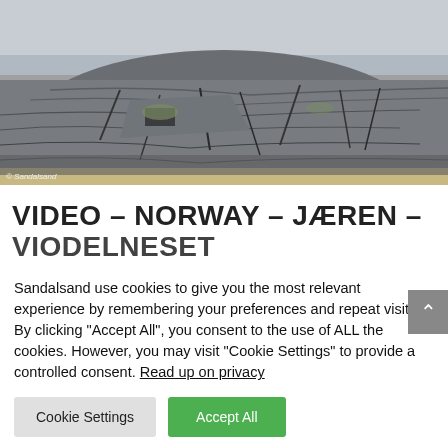[Figure (photo): Aerial or close-up photograph of layered coastal rock formations with textured grey stone and sand, overcast sky in background. Watermark '© Sandalsand' visible in lower left.]
VIDEO – NORWAY – JÆREN – VIODELNESET
Sandalsand use cookies to give you the most relevant experience by remembering your preferences and repeat visits. By clicking "Accept All", you consent to the use of ALL the cookies. However, you may visit "Cookie Settings" to provide a controlled consent. Read up on privacy